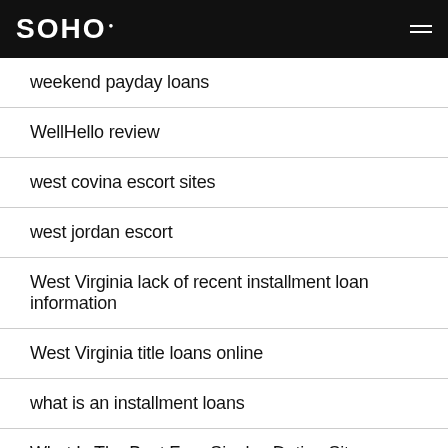SOHO
weekend payday loans
WellHello review
west covina escort sites
west jordan escort
West Virginia lack of recent installment loan information
West Virginia title loans online
what is an installment loans
What Is The Best Free Singles Dating Site